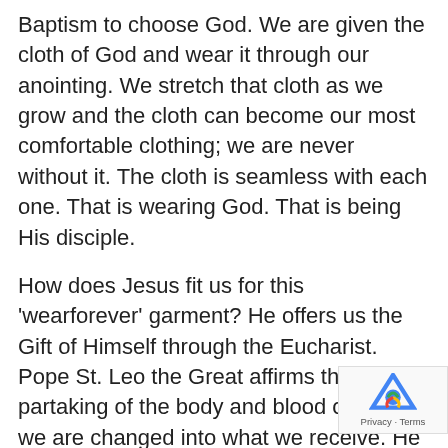Baptism to choose God. We are given the cloth of God and wear it through our anointing. We stretch that cloth as we grow and the cloth can become our most comfortable clothing; we are never without it. The cloth is seamless with each one. That is wearing God. That is being His disciple.
How does Jesus fit us for this ‘wearforever’ garment? He offers us the Gift of Himself through the Eucharist. Pope St. Leo the Great affirms that by partaking of the body and blood of Christ, we are changed into what we receive. He writes, “For the effect of our sharing in the body and blood of Christ is to change us into what we receive.” This means that through our reception of the Eucharist we become Jesus fo our world today, its “bread come down from heaven”. We are the bread then that feeds the
[Figure (other): reCAPTCHA badge with logo and Privacy - Terms links]